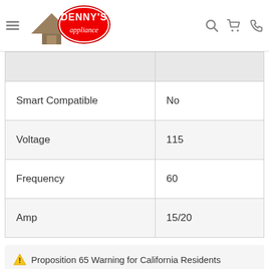Denny's Appliance — navigation bar with logo, hamburger menu, search, cart, and phone icons
|  |  |
| --- | --- |
| Smart Compatible | No |
| Voltage | 115 |
| Frequency | 60 |
| Amp | 15/20 |
⚠ Proposition 65 Warning for California Residents
Learn More